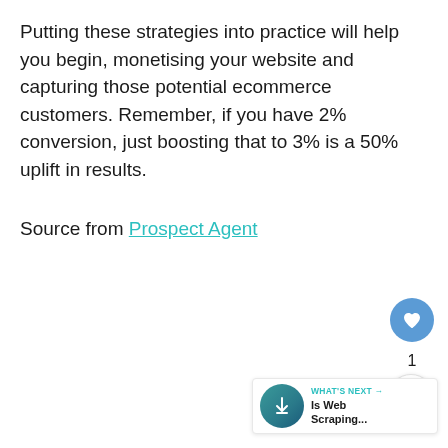Putting these strategies into practice will help you begin, monetising your website and capturing those potential ecommerce customers. Remember, if you have 2% conversion, just boosting that to 3% is a 50% uplift in results.
Source from Prospect Agent